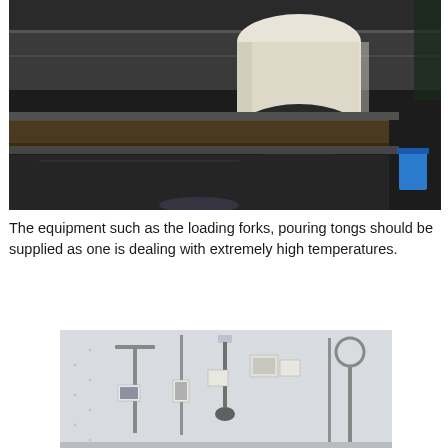[Figure (photo): Photo of industrial equipment — a dark metal box/furnace with a white cylindrical tube/sock on top and a blue object on the right side, with a wooden plank visible in a slot in the middle.]
The equipment such as the loading forks, pouring tongs should be supplied as one is dealing with extremely high temperatures.
[Figure (photo): Photo of various metalworking/foundry hand tools hung on a white wall — including tongs, ladles, scrapers, and other implements with small labels attached.]